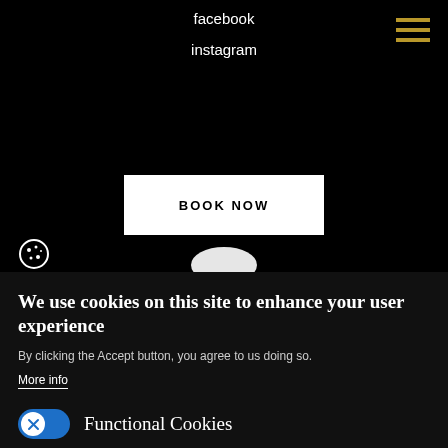facebook
instagram
BOOK NOW
We use cookies on this site to enhance your user experience
By clicking the Accept button, you agree to us doing so.
More info
Functional Cookies